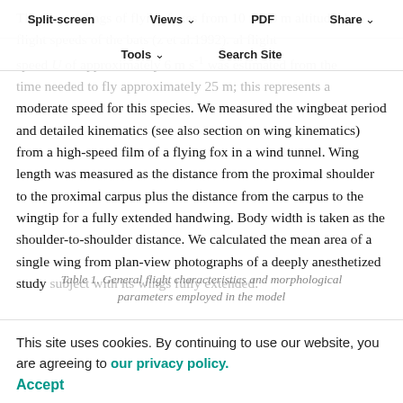Split-screen | Views | PDF | Share | Tools | Search Site
These recordings of flying foxes from 10 to 13 m altitude the flight speeds of the bats (Lz et al., 1992). A typical flight speed U of approximately 6 m s⁻¹ was estimated from the time needed to fly approximately 25 m; this represents a moderate speed for this species. We measured the wingbeat period and detailed kinematics (see also section on wing kinematics) from a high-speed film of a flying fox in a wind tunnel. Wing length was measured as the distance from the proximal shoulder to the proximal carpus plus the distance from the carpus to the wingtip for a fully extended handwing. Body width is taken as the shoulder-to-shoulder distance. We calculated the mean area of a single wing from plan-view photographs of a deeply anesthetized study subject with its wings fully extended.
Table 1. General flight characteristics and morphological parameters employed in the model
This site uses cookies. By continuing to use our website, you are agreeing to our privacy policy. Accept